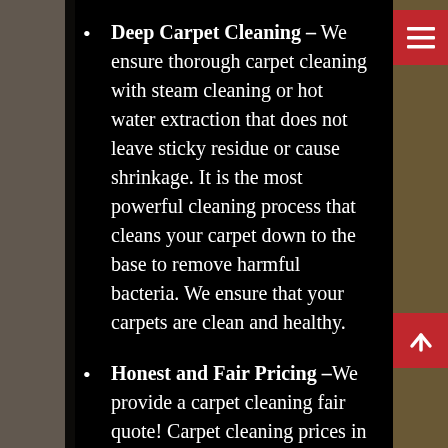Deep Carpet Cleaning – We ensure thorough carpet cleaning with steam cleaning or hot water extraction that does not leave sticky residue or cause shrinkage. It is the most powerful cleaning process that cleans your carpet down to the base to remove harmful bacteria. We ensure that your carpets are clean and healthy.
Honest and Fair Pricing – We provide a carpet cleaning fair quote! Carpet cleaning prices in Brisbane, Gold Coast & Sunshine Coast are reasonable! With us, you never be presented with unexpected extras or hidden costs. We deliver a premium carpet cleaning service at a fair...